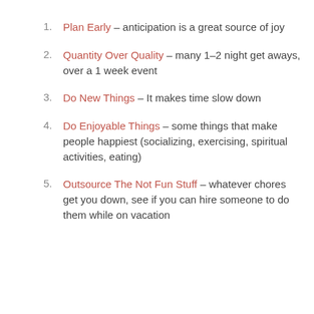Plan Early - anticipation is a great source of joy
Quantity Over Quality - many 1-2 night get aways, over a 1 week event
Do New Things - It makes time slow down
Do Enjoyable Things - some things that make people happiest (socializing, exercising, spiritual activities, eating)
Outsource The Not Fun Stuff - whatever chores get you down, see if you can hire someone to do them while on vacation